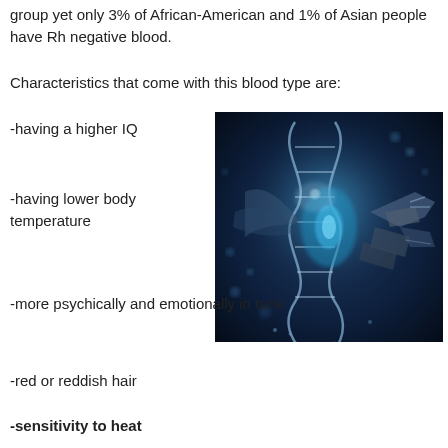group yet only 3% of African-American and 1% of Asian people have Rh negative blood.
Characteristics that come with this blood type are:
-having a higher IQ
[Figure (photo): Digital illustration of a DNA double helix structure with glowing blue and silver robotic/mechanical elements against a dark background]
-having lower body temperature
-more psychically and emotionally in tune
-red or reddish hair
-sensitivity to heat